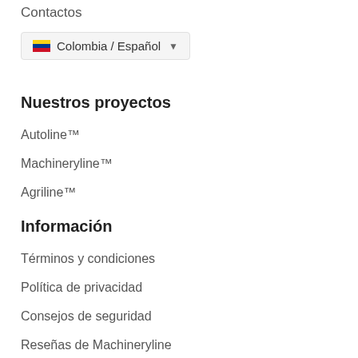Contactos
[Figure (other): Colombia / Español language selector button with Colombian flag and dropdown arrow]
Nuestros proyectos
Autoline™
Machineryline™
Agriline™
Información
Términos y condiciones
Política de privacidad
Consejos de seguridad
Reseñas de Machineryline
Mapa del sitio